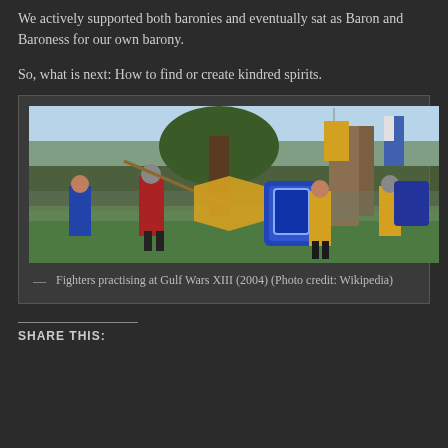We actively supported both baronies and eventually sat as Baron and Baroness for our own barony.
So, what is next: How to find or create kindred spirits.
[Figure (photo): Fighters practising at Gulf Wars XIII (2004), showing medieval re-enactors in armor and colorful tunics on a grassy field with trees and banners in the background.]
Fighters practising at Gulf Wars XIII (2004) (Photo credit: Wikipedia)
SHARE THIS: